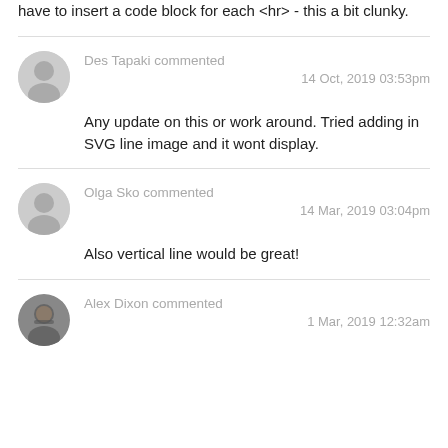have to insert a code block for each <hr> - this a bit clunky.
Des Tapaki commented
14 Oct, 2019 03:53pm
Any update on this or work around. Tried adding in SVG line image and it wont display.
Olga Sko commented
14 Mar, 2019 03:04pm
Also vertical line would be great!
Alex Dixon commented
1 Mar, 2019 12:32am